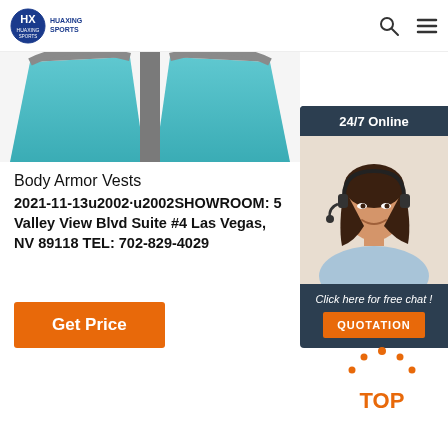HUAXING SPORTS
[Figure (photo): Partial view of blue/teal body armor vest product image, cropped at top]
[Figure (photo): 24/7 Online chat widget with woman wearing headset, dark navy background, orange QUOTATION button]
Body Armor Vests
2021-11-13u2002·u2002SHOWROOM: 5 Valley View Blvd Suite #4 Las Vegas, NV 89118 TEL: 702-829-4029
Get Price
[Figure (other): Orange dotted arc with TOP text below — back to top button]